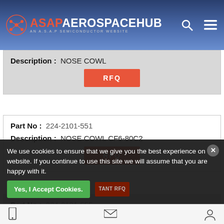[Figure (logo): ASAP Aerospace Hub logo with search and menu icons in blue gradient header]
Description : NOSE COWL
RFQ
Part No : 224-2101-551
Description : NOSE COWL CF6-80C2
RFQ
Part No : 224-2101-555
Description : NOSE COWL CF6-80C2
RFQ
Part No : (partially visible)
We use cookies to ensure that we give you the best experience on our website. If you continue to use this site we will assume that you are happy with it.
Yes, I Accept Cookies.